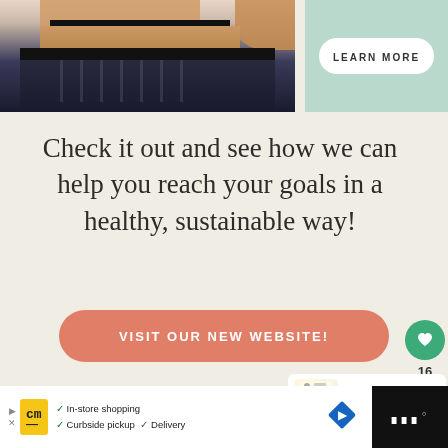[Figure (photo): Top banner: cropped torso of a person in athletic wear on the left (beige/dark background), with a mint green panel on the right containing a 'LEARN MORE' button]
LEARN MORE
Check it out and see how we can help you reach your goals in a healthy, sustainable way!
VISIT OUR NEW WEBSITE!
16
WHAT'S NEXT → Paleovalley Anniversary...
[Figure (screenshot): Bottom advertisement banner: cm logo with yellow background, checkmarks listing In-store shopping, Curbside pickup, Delivery, blue navigation diamond icon, and dark right panel with WW logo]